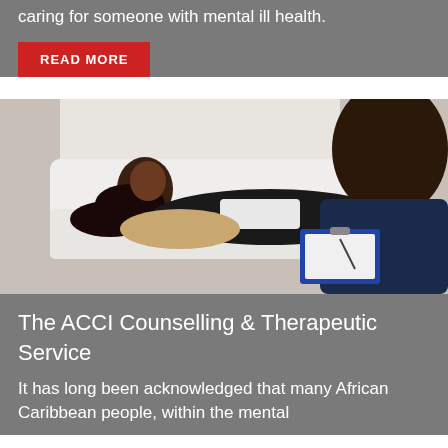caring for someone with mental ill health.
READ MORE
[Figure (photo): A woman lying on a white couch in a therapy session, with a male therapist sitting in the foreground holding a clipboard.]
The ACCI Counselling & Therapeutic Service
It has long been acknowledged that many African Caribbean people, within the mental health system, have been...